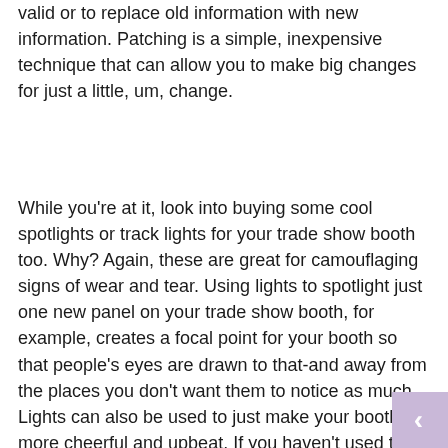valid or to replace old information with new information.  Patching is a simple, inexpensive technique that can allow you to make big changes for just a little, um, change.
While you're at it, look into buying some cool spotlights or track lights for your trade show booth too.  Why?  Again, these are great for camouflaging signs of wear and tear.  Using lights to spotlight just one new panel on your trade show booth, for example, creates a focal point for your booth so that people's eyes are drawn to that-and away from the places you don't want them to notice as much. Lights can also be used to just make your booth more cheerful and upbeat.  If you haven't used them in the past and start using them now to automatically update the look of your trade show booth.